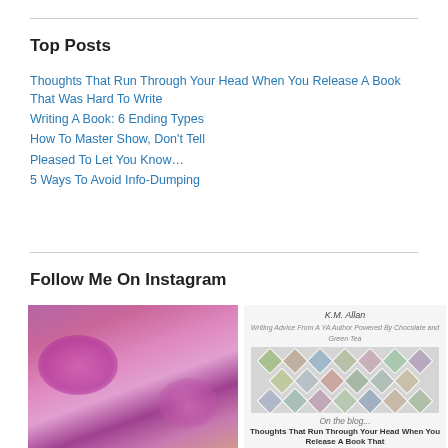Top Posts
Thoughts That Run Through Your Head When You Release A Book That Was Hard To Write
Writing A Book: 6 Ending Types
How To Master Show, Don't Tell
Pleased To Let You Know…
5 Ways To Avoid Info-Dumping
Follow Me On Instagram
[Figure (photo): Photo of pink flowering tree/bush branches against a blue sky]
[Figure (photo): Blog post promotional image for K.M. Allan with diamond grid of photos, text 'On the blog... Thoughts That Run Through Your Head When You Release A Book That']